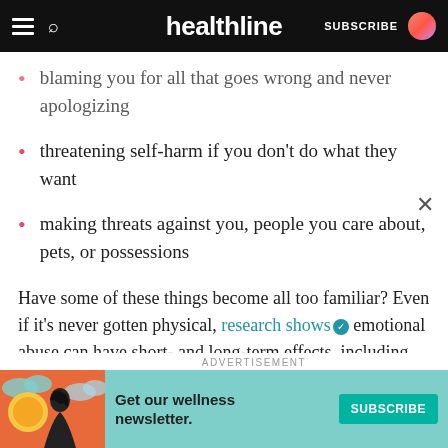healthline — SUBSCRIBE
blaming you for all that goes wrong and never apologizing
threatening self-harm if you don't do what they want
making threats against you, people you care about, pets, or possessions
Have some of these things become all too familiar? Even if it's never gotten physical, research shows emotional abuse can have short- and long-term effects, including feelings of:
loneliness
[Figure (infographic): Advertisement banner for Healthline wellness newsletter subscription with illustration of a woman and colorful background. Text reads 'Get our wellness newsletter.' with a teal SUBSCRIBE button.]